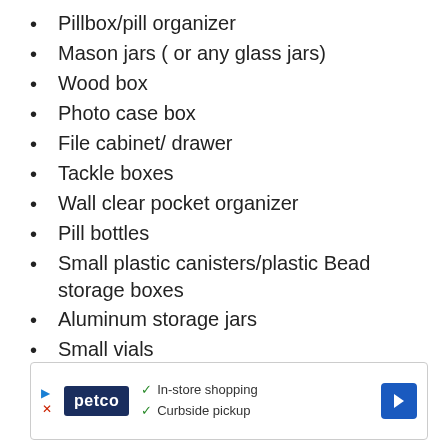Pillbox/pill organizer
Mason jars ( or any glass jars)
Wood box
Photo case box
File cabinet/ drawer
Tackle boxes
Wall clear pocket organizer
Pill bottles
Small plastic canisters/plastic Bead storage boxes
Aluminum storage jars
Small vials
Recipe box/ metal or tin box
[Figure (infographic): Advertisement banner for Petco showing store logo, checkmarks for 'In-store shopping' and 'Curbside pickup', and a blue arrow icon on the right.]